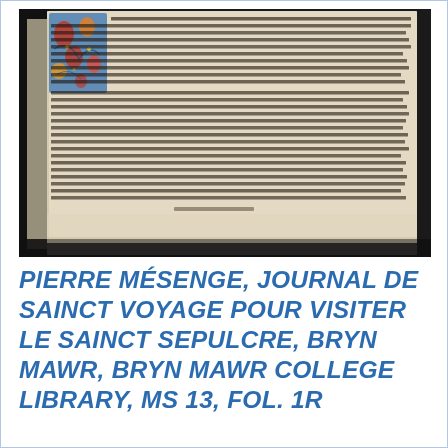[Figure (photo): Photograph of an open medieval illuminated manuscript page (Pierre Mésenge, Journal de Sainct Voyage), showing handwritten Gothic script text in dark ink on vellum, with a decorated illuminated border featuring blue and red floral motifs at the upper-left corner. The manuscript pages are photographed against a dark background.]
PIERRE MÉSENGE, JOURNAL DE SAINCT VOYAGE POUR VISITER LE SAINCT SEPULCRE, BRYN MAWR, BRYN MAWR COLLEGE LIBRARY, MS 13, FOL. 1R